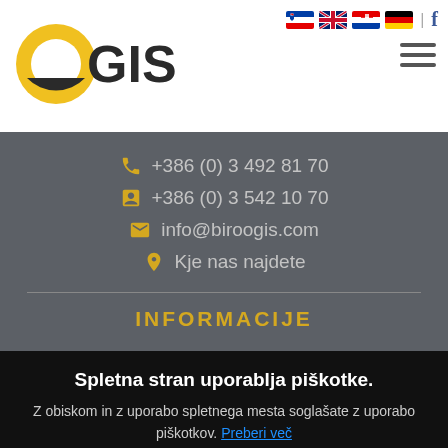[Figure (logo): OGIS company logo with yellow O circle and dark GIS text]
[Figure (illustration): Flag icons for Slovenia, UK, Croatia, Germany, Facebook icon, and hamburger menu]
+386 (0) 3 492 81 70
+386 (0) 3 542 10 70
info@biroogis.com
Kje nas najdete
INFORMACIJE
Spletna stran uporablja piškotke.
Z obiskom in z uporabo spletnega mesta soglašate z uporabo piškotkov. Preberi več
Sprejmi